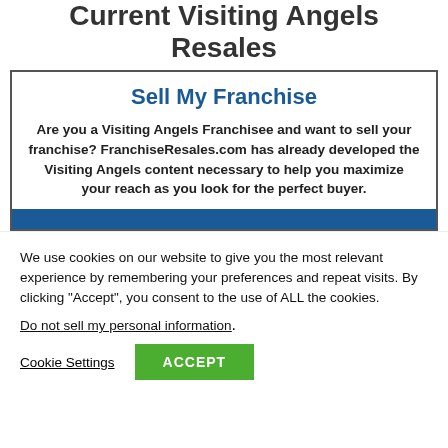Current Visiting Angels Resales
Sell My Franchise
Are you a Visiting Angels Franchisee and want to sell your franchise? FranchiseResales.com has already developed the Visiting Angels content necessary to help you maximize your reach as you look for the perfect buyer.
We use cookies on our website to give you the most relevant experience by remembering your preferences and repeat visits. By clicking “Accept”, you consent to the use of ALL the cookies.
Do not sell my personal information.
Cookie Settings  ACCEPT